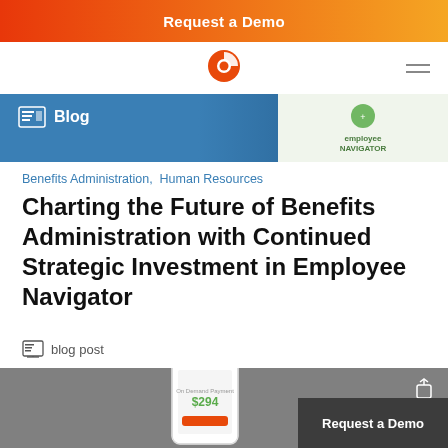Request a Demo
Navigation bar with logo and hamburger menu
[Figure (photo): Blog image strip with 'Blog' label on left and Employee Navigator logo on right]
Benefits Administration,  Human Resources
Charting the Future of Benefits Administration with Continued Strategic Investment in Employee Navigator
blog post
[Figure (photo): Photo of hand holding a smartphone showing On Demand Payment app with $294 balance, with 'Request a Demo' button overlay in bottom right]